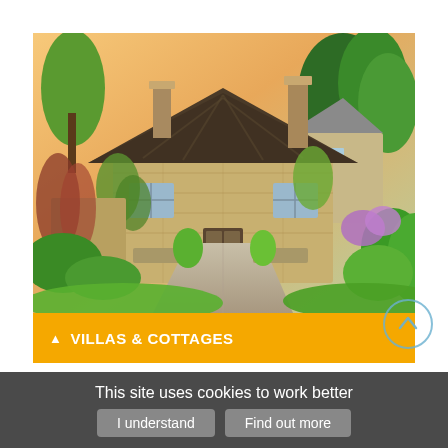[Figure (photo): A picturesque English countryside cottage with a thatched roof, stone walls, lush green gardens, climbing plants, and a gravel path leading to the entrance. Warm sunset sky in the background.]
VILLAS & COTTAGES
This site uses cookies to work better
I understand   Find out more